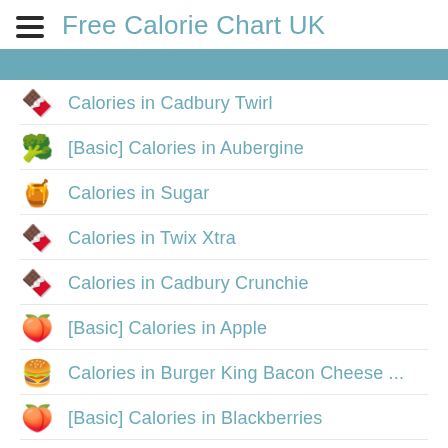Free Calorie Chart UK
Calories in Cadbury Twirl
[Basic] Calories in Aubergine
Calories in Sugar
Calories in Twix Xtra
Calories in Cadbury Crunchie
[Basic] Calories in Apple
Calories in Burger King Bacon Cheese ...
[Basic] Calories in Blackberries
Calories in Weetabix Protein